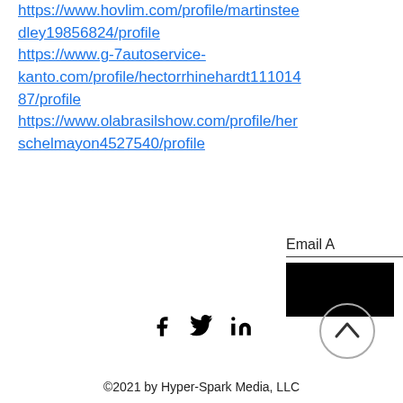https://www.hovlim.com/profile/martinsteedley19856824/profile https://www.g-7autoservice-kanto.com/profile/hectorrhinehardt11101487/profile https://www.olabrasilshow.com/profile/herschelmayon4527540/profile
Email A
©2021 by Hyper-Spark Media, LLC